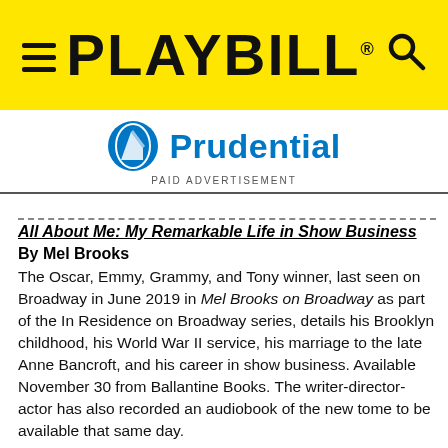PLAYBILL
[Figure (logo): Prudential logo with rock icon and blue text reading Prudential, with PAID ADVERTISEMENT label below]
All About Me: My Remarkable Life in Show Business
By Mel Brooks
The Oscar, Emmy, Grammy, and Tony winner, last seen on Broadway in June 2019 in Mel Brooks on Broadway as part of the In Residence on Broadway series, details his Brooklyn childhood, his World War II service, his marriage to the late Anne Bancroft, and his career in show business. Available November 30 from Ballantine Books. The writer-director-actor has also recorded an audiobook of the new tome to be available that same day.
B is for Broadway
By John Robert Allman with illustrations by Peter Emmerich
If A Is For Audra is a crash course in Diva Studies